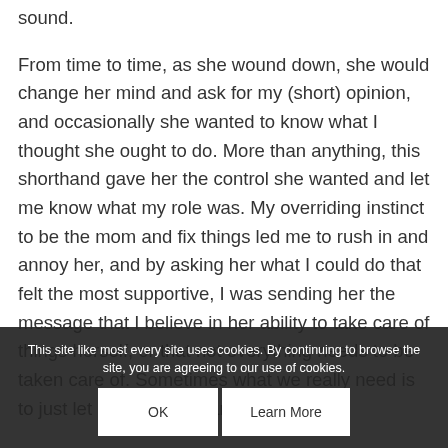sound.

From time to time, as she wound down, she would change her mind and ask for my (short) opinion, and occasionally she wanted to know what I thought she ought to do. More than anything, this shorthand gave her the control she wanted and let me know what my role was. My overriding instinct to be the mom and fix things led me to rush in and annoy her, and by asking her what I could do that felt the most supportive, I was sending her the message that I believe in her ability to take care of things herself, or that not everything needs to be taken care of. Sometimes what we really need is to just let go of the day and move on.

Now that Lola is older and struggling with many of
This site like most every site uses cookies. By continuing to browse the site, you are agreeing to our use of cookies.